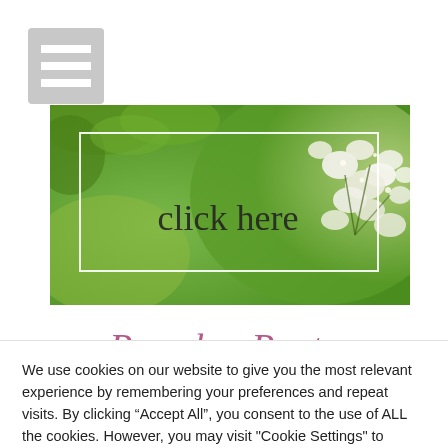[Figure (other): Hamburger/menu icon with three white horizontal bars on a grey background]
[Figure (photo): Banner image of white flowers on a green background with the text 'click here' overlaid in dark letters, surrounded by a white rectangular border outline]
Popular Posts
We use cookies on our website to give you the most relevant experience by remembering your preferences and repeat visits. By clicking “Accept All”, you consent to the use of ALL the cookies. However, you may visit "Cookie Settings" to provide a controlled consent.
Cookie Settings | Accept All